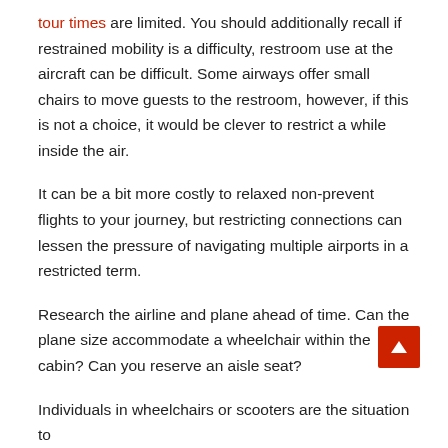tour times are limited. You should additionally recall if restrained mobility is a difficulty, restroom use at the aircraft can be difficult. Some airways offer small chairs to move guests to the restroom, however, if this is not a choice, it would be clever to restrict a while inside the air.
It can be a bit more costly to relaxed non-prevent flights to your journey, but restricting connections can lessen the pressure of navigating multiple airports in a restricted term.
Research the airline and plane ahead of time. Can the plane size accommodate a wheelchair within the cabin? Can you reserve an aisle seat?
Individuals in wheelchairs or scooters are the situation to